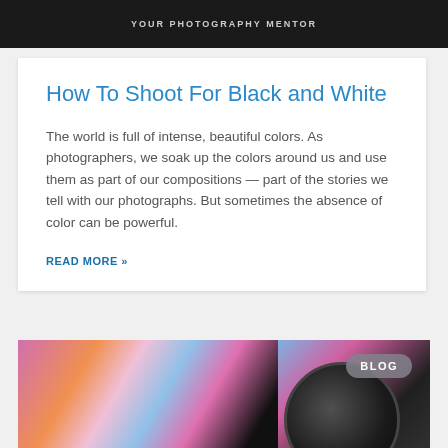YOUR PHOTOGRAPHY MENTOR
How To Shoot For Black and White
The world is full of intense, beautiful colors. As photographers, we soak up the colors around us and use them as part of our compositions — part of the stories we tell with our photographs. But sometimes the absence of color can be powerful.
READ MORE »
[Figure (photo): Colorful abstract photo of illuminated petals and a camera lens with a BLOG badge overlay]